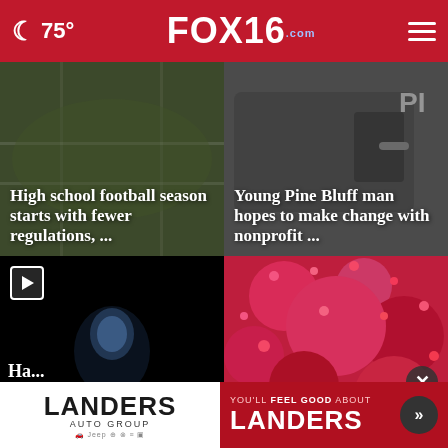🌙 75° FOX16.com
[Figure (photo): High school football stadium aerial view with text overlay: High school football season starts with fewer regulations, ...]
[Figure (photo): Police car door close-up with text overlay: Young Pine Bluff man hopes to make change with nonprofit ...]
[Figure (photo): Dark video thumbnail with glowing figure, play button overlay, partial headline: Ha... man w... a int... ative...]
[Figure (photo): Close-up of red berries/flowers with close (X) button overlay]
[Figure (infographic): Advertisement banner: LANDERS AUTO GROUP - YOU'LL FEEL GOOD ABOUT LANDERS with arrow button]